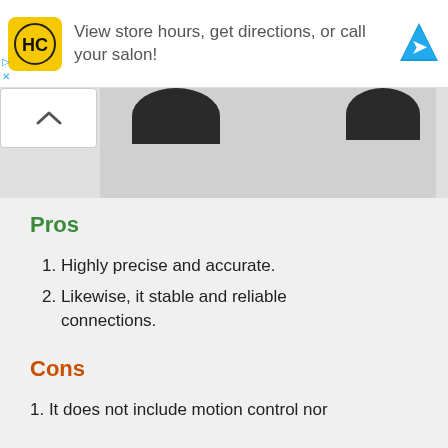[Figure (screenshot): Advertisement banner with HC salon logo, text 'View store hours, get directions, or call your salon!' and a blue navigation arrow icon. Play and close controls on left.]
[Figure (photo): Partial image strip showing dark rounded tops of two items against a gray background, with an up chevron collapse button on the left.]
Pros
1. Highly precise and accurate.
2. Likewise, it stable and reliable connections.
Cons
1. It does not include motion control nor